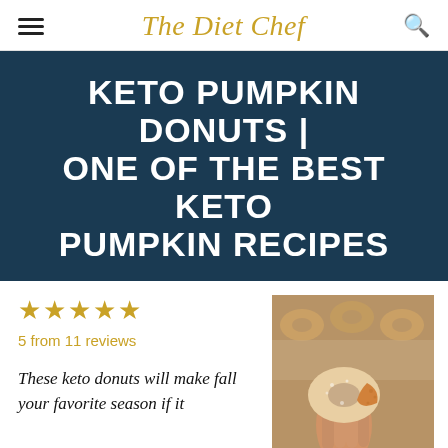The Diet Chef
KETO PUMPKIN DONUTS | ONE OF THE BEST KETO PUMPKIN RECIPES
★★★★★
5 from 11 reviews
[Figure (photo): A hand holding a keto pumpkin donut with a bite taken out of it, with more donuts blurred in the background]
These keto donuts will make fall your favorite season if it